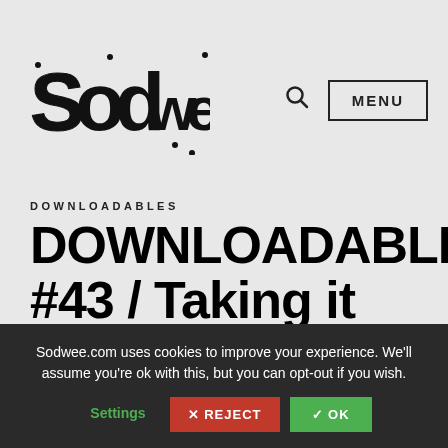[Figure (logo): Sodwee logo in graffiti bubble letter style, black text on light grey background]
MENU
DOWNLOADABLES
DOWNLOADABLES #43 / Taking it real
Sodwee.com uses cookies to improve your experience. We'll assume you're ok with this, but you can opt-out if you wish.
Settings  ✕ REJECT  ✓ OK